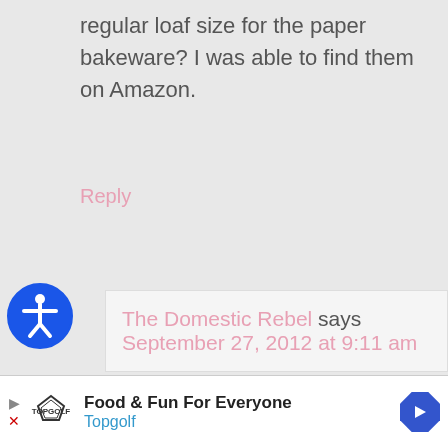regular loaf size for the paper bakeware? I was able to find them on Amazon.
Reply
[Figure (infographic): Blue circle accessibility icon with a person figure in white]
The Domestic Rebel says September 27, 2012 at 9:11 am
I used the loaf baking pans with the dimensions 2.5″ wide x 7″ length x 1.8″ high which
Food & Fun For Everyone Topgolf